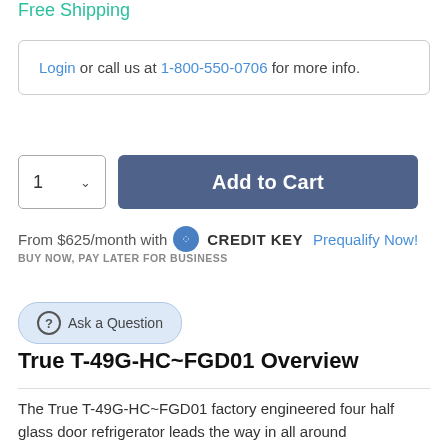Free Shipping
Login or call us at 1-800-550-0706 for more info.
1  ∨   Add to Cart
From $625/month with CREDIT KEY  Prequalify Now!
BUY NOW, PAY LATER FOR BUSINESS
Ask a Question
True T-49G-HC~FGD01 Overview
The True T-49G-HC~FGD01 factory engineered four half glass door refrigerator leads the way in all around